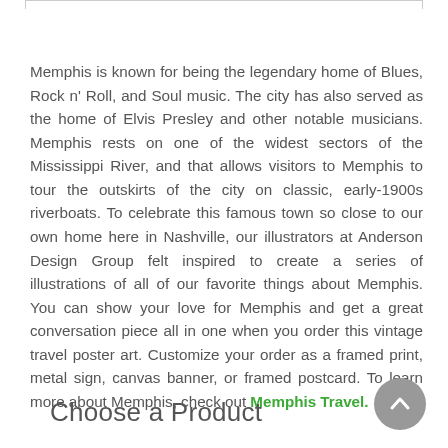Memphis is known for being the legendary home of Blues, Rock n' Roll, and Soul music. The city has also served as the home of Elvis Presley and other notable musicians. Memphis rests on one of the widest sectors of the Mississippi River, and that allows visitors to Memphis to tour the outskirts of the city on classic, early-1900s riverboats. To celebrate this famous town so close to our own home here in Nashville, our illustrators at Anderson Design Group felt inspired to create a series of illustrations of all of our favorite things about Memphis. You can show your love for Memphis and get a great conversation piece all in one when you order this vintage travel poster art. Customize your order as a framed print, metal sign, canvas banner, or framed postcard. To learn more about Memphis, check out Memphis Travel.
Choose a Product